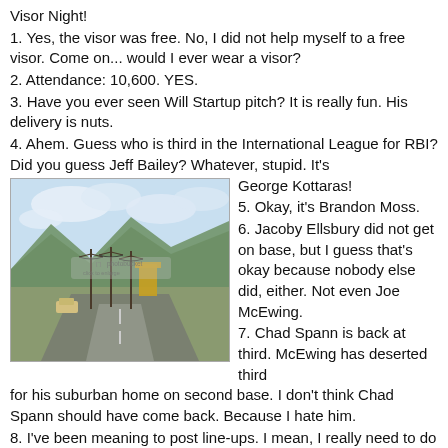Visor Night!
1. Yes, the visor was free. No, I did not help myself to a free visor. Come on... would I ever wear a visor?
2. Attendance: 10,600. YES.
3. Have you ever seen Will Startup pitch? It is really fun. His delivery is nuts.
4. Ahem. Guess who is third in the International League for RBI? Did you guess Jeff Bailey? Whatever, stupid. It's George Kottaras!
[Figure (photo): Outdoor photo showing a road with utility poles, mountains in background, and cloudy sky. Photobucket watermark visible.]
5. Okay, it's Brandon Moss.
6. Jacoby Ellsbury did not get on base, but I guess that's okay because nobody else did, either. Not even Joe McEwing.
7. Chad Spann is back at third. McEwing has deserted third for his suburban home on second base. I don't think Chad Spann should have come back. Because I hate him.
8. I've been meaning to post line-ups. I mean, I really need to do that. It would be helpful for my many thousands of readers.
9. Okay, here: